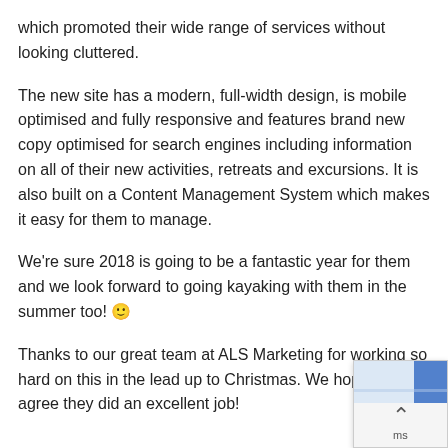which promoted their wide range of services without looking cluttered.
The new site has a modern, full-width design, is mobile optimised and fully responsive and features brand new copy optimised for search engines including information on all of their new activities, retreats and excursions. It is also built on a Content Management System which makes it easy for them to manage.
We're sure 2018 is going to be a fantastic year for them and we look forward to going kayaking with them in the summer too! 🙂
Thanks to our great team at ALS Marketing for working so hard on this in the lead up to Christmas. We hope you agree they did an excellent job!